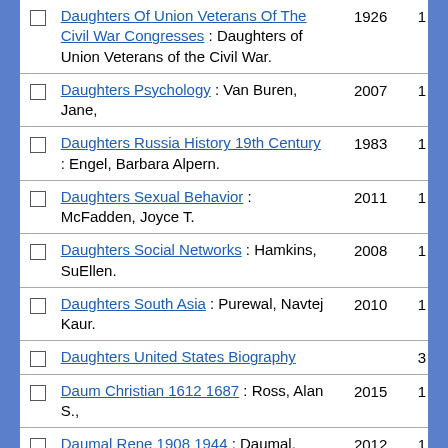Daughters Of Union Veterans Of The Civil War Congresses : Daughters of Union Veterans of the Civil War. 1926 1
Daughters Psychology : Van Buren, Jane, 2007 1
Daughters Russia History 19th Century : Engel, Barbara Alpern. 1983 1
Daughters Sexual Behavior : McFadden, Joyce T. 2011 1
Daughters Social Networks : Hamkins, SuEllen. 2008 1
Daughters South Asia : Purewal, Navtej Kaur. 2010 1
Daughters United States Biography 3
Daum Christian 1612 1687 : Ross, Alan S., 2015 1
Daumal Rene 1908 1944 : Daumal, René, 2012 1